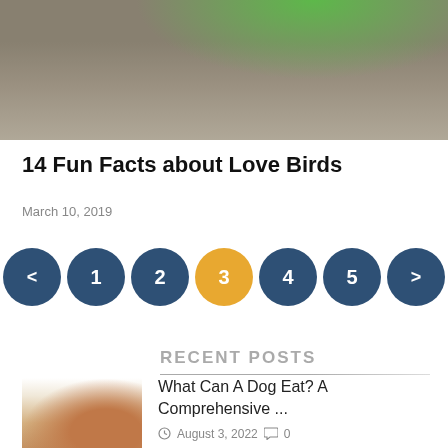[Figure (photo): Partial photo of a bird (lovebird) perched on a rock or ledge, with green plumage visible at top and rocky/stone surface below]
14 Fun Facts about Love Birds
March 10, 2019
[Figure (other): Pagination navigation with circles: < 1 2 3(active/orange) 4 5 >]
RECENT POSTS
[Figure (photo): Thumbnail photo of a small brown dachshund dog next to a bowl of dog food]
What Can A Dog Eat? A Comprehensive ...
August 3, 2022  0